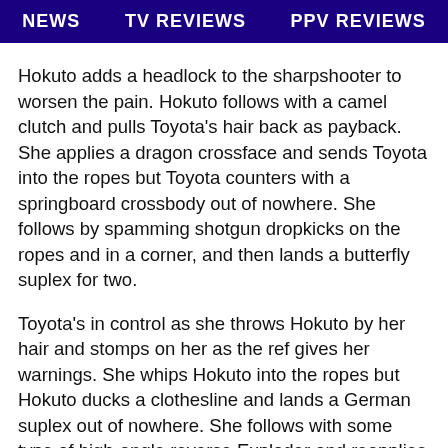NEWS   TV REVIEWS   PPV REVIEWS
Hokuto adds a headlock to the sharpshooter to worsen the pain. Hokuto follows with a camel clutch and pulls Toyota's hair back as payback. She applies a dragon crossface and sends Toyota into the ropes but Toyota counters with a springboard crossbody out of nowhere. She follows by spamming shotgun dropkicks on the ropes and in a corner, and then lands a butterfly suplex for two.
Toyota's in control as she throws Hokuto by her hair and stomps on her as the ref gives her warnings. She whips Hokuto into the ropes but Hokuto ducks a clothesline and lands a German suplex out of nowhere. She follows with some type of high-angle reverse Exploder and reapplies the sharpshooter. Toyota reaches the ropes so Hokuto lets go for a fraction of a second and then reapplied the same